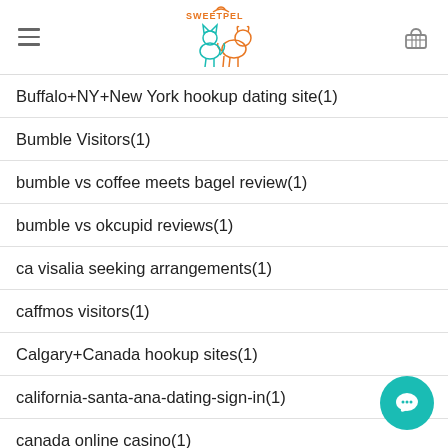[Figure (logo): Sweetpel pet store logo with orange cat and teal dog outline, text SWEETPEL in orange above]
Buffalo+NY+New York hookup dating site(1)
Bumble Visitors(1)
bumble vs coffee meets bagel review(1)
bumble vs okcupid reviews(1)
ca visalia seeking arrangements(1)
caffmos visitors(1)
Calgary+Canada hookup sites(1)
california-santa-ana-dating-sign-in(1)
canada online casino(1)
Canada seeking(1)